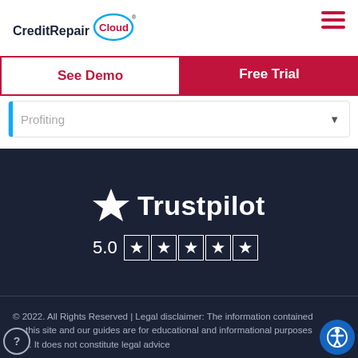CreditRepair Cloud
See Demo
Free Trial
Profiting
[Figure (logo): Trustpilot logo with large star and text 'Trustpilot' in white, rating 5.0 with five filled stars on dark navy background]
© 2022. All Rights Reserved | Legal disclaimer: The information contained on this site and our guides are for educational and informational purposes only. It does not constitute legal advice